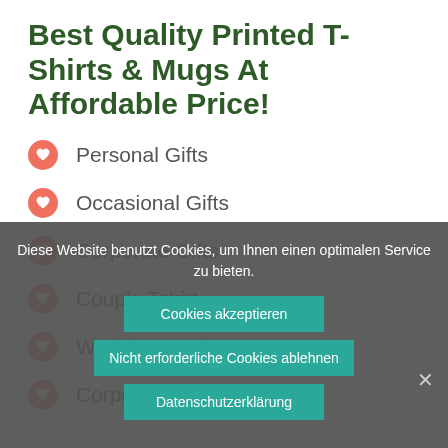Best Quality Printed T-Shirts & Mugs At Affordable Price!
Personal Gifts
Occasional Gifts
Corporate Gifts
Couple Tshirt
Wedding Package
Corporate Gifts
Diese Website benutzt Cookies, um Ihnen einen optimalen Service zu bieten.
Cookies akzeptieren
Nicht erforderliche Cookies ablehnen
Datenschutzerklärung